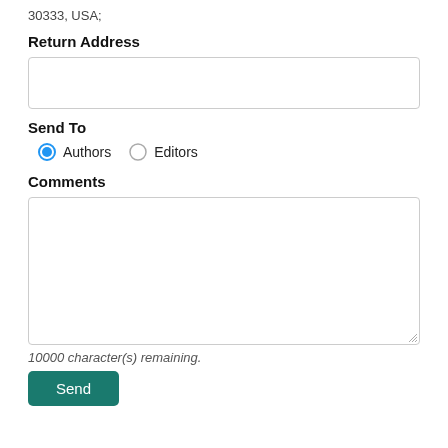30333, USA;
Return Address
[Figure (screenshot): Empty text input box for Return Address]
Send To
Authors (selected) / Editors radio buttons
Comments
[Figure (screenshot): Large empty textarea for Comments]
10000 character(s) remaining.
Send